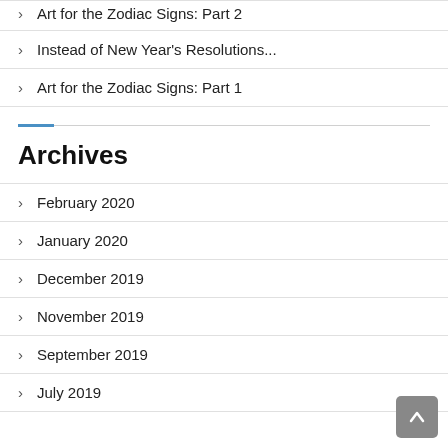Art for the Zodiac Signs: Part 2
Instead of New Year's Resolutions...
Art for the Zodiac Signs: Part 1
Archives
February 2020
January 2020
December 2019
November 2019
September 2019
July 2019